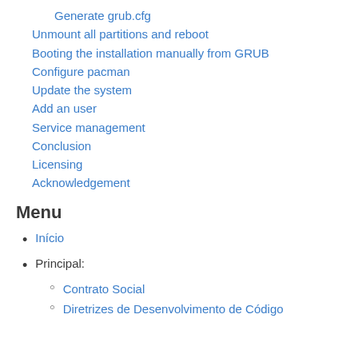Generate grub.cfg
Unmount all partitions and reboot
Booting the installation manually from GRUB
Configure pacman
Update the system
Add an user
Service management
Conclusion
Licensing
Acknowledgement
Menu
Início
Principal:
Contrato Social
Diretrizes de Desenvolvimento de Código